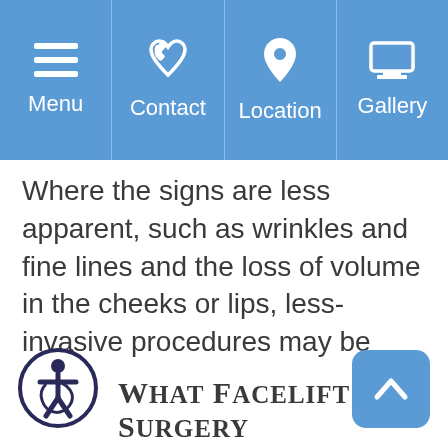Menu | Contact | Location | Gallery
Where the signs are less apparent, such as wrinkles and fine lines and the loss of volume in the cheeks or lips, less-invasive procedures may be more appropriate.
Do you feel your facial appearance makes you look older than your actual age? If so, consider undergoing cosmetic facelift surgery.
What Facelift Surgery